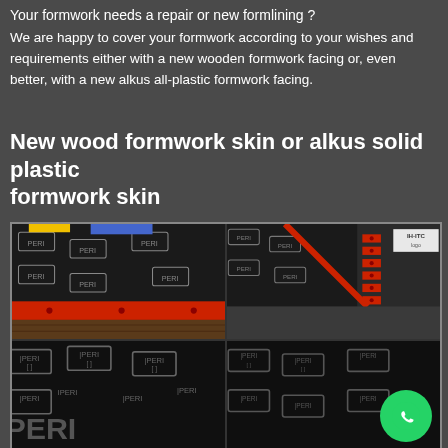Your formwork needs a repair or new formlining ?
We are happy to cover your formwork according to your wishes and requirements either with a new wooden formwork facing or, even better, with a new alkus all-plastic formwork facing.
New wood formwork skin or alkus solid plastic formwork skin
[Figure (photo): Four photos showing formwork panels with red plastic edging strips and PERI-branded surfaces. Top-left shows a single red-edged panel from the side. Top-right shows stacked panels with red edging. Bottom-left and bottom-right show close-ups of PERI-branded formwork surfaces.]